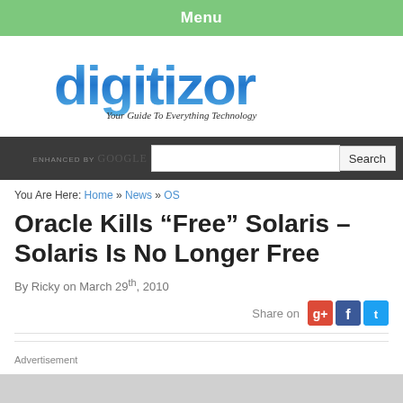Menu
[Figure (logo): Digitizor logo with tagline 'Your Guide To Everything Technology']
ENHANCED BY Google  Search
You Are Here: Home » News » OS
Oracle Kills “Free” Solaris – Solaris Is No Longer Free
By Ricky on March 29th, 2010
Share on
Advertisement